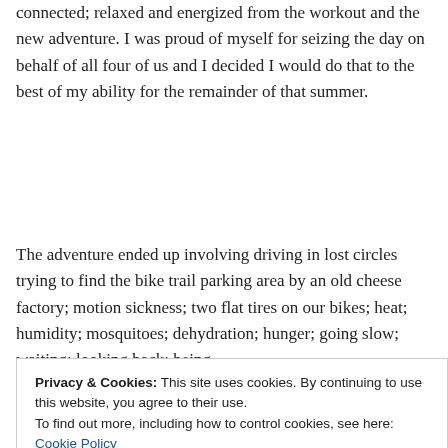connected; relaxed and energized from the workout and the new adventure. I was proud of myself for seizing the day on behalf of all four of us and I decided I would do that to the best of my ability for the remainder of that summer.
The adventure ended up involving driving in lost circles trying to find the bike trail parking area by an old cheese factory; motion sickness; two flat tires on our bikes; heat; humidity; mosquitoes; dehydration; hunger; going slow; waiting; looking back; being
Privacy & Cookies: This site uses cookies. By continuing to use this website, you agree to their use.
To find out more, including how to control cookies, see here: Cookie Policy
Around mile fourteen I challenged myself to push out all of the